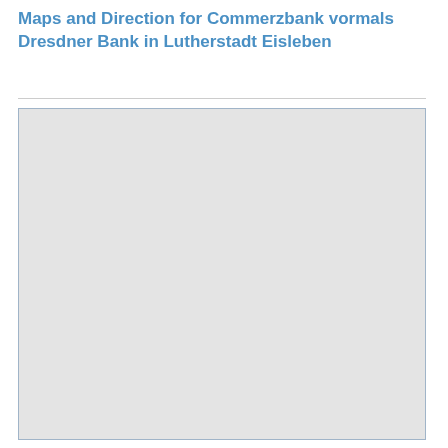Maps and Direction for Commerzbank vormals Dresdner Bank in Lutherstadt Eisleben
[Figure (map): A map placeholder showing a light gray area representing the map view for Commerzbank vormals Dresdner Bank in Lutherstadt Eisleben. The map area is blank/loading with a light gray background and a light blue border.]